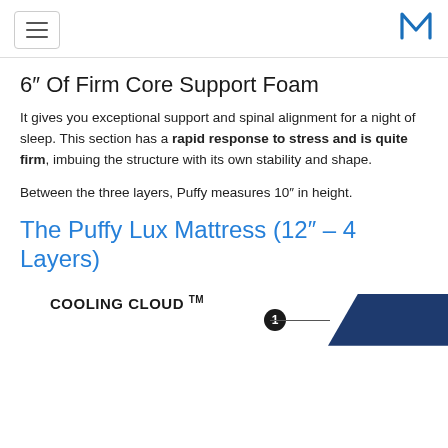[hamburger menu] [M logo]
6″ Of Firm Core Support Foam
It gives you exceptional support and spinal alignment for a night of sleep. This section has a rapid response to stress and is quite firm, imbuing the structure with its own stability and shape.
Between the three layers, Puffy measures 10″ in height.
The Puffy Lux Mattress (12″ – 4 Layers)
[Figure (infographic): Cooling Cloud TM label with circle number 1 marker and dark blue triangular corner graphic]